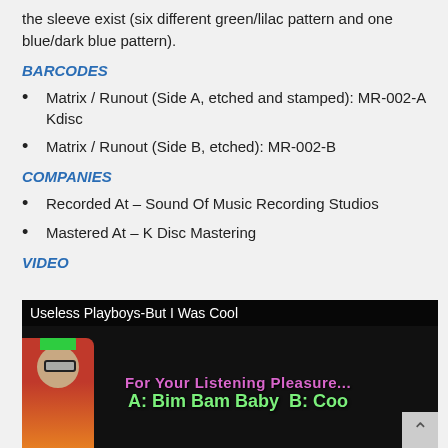the sleeve exist (six different green/lilac pattern and one blue/dark blue pattern).
BARCODES
Matrix / Runout (Side A, etched and stamped): MR-002-A Kdisc
Matrix / Runout (Side B, etched): MR-002-B
COMPANIES
Recorded At – Sound Of Music Recording Studios
Mastered At – K Disc Mastering
VIDEO
[Figure (screenshot): Video thumbnail for 'Useless Playboys-But I Was Cool' showing a person on the left side and text 'For Your Listening Pleasure... A: Bim Bam Baby B: Coo' in pink and green on a black background]